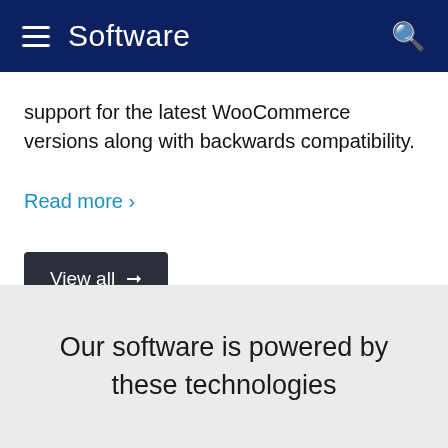Software
support for the latest WooCommerce versions along with backwards compatibility.
Read more >
View all →
Our software is powered by these technologies